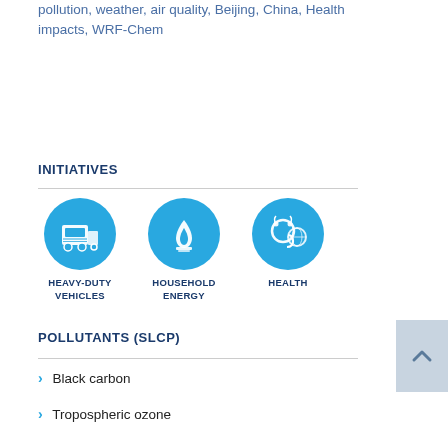pollution, weather, air quality, Beijing, China, Health impacts, WRF-Chem
INITIATIVES
[Figure (infographic): Three circular blue icons representing initiatives: Heavy-Duty Vehicles (truck icon), Household Energy (flame/lantern icon), Health (stethoscope/globe icon)]
POLLUTANTS (SLCP)
> Black carbon
> Tropospheric ozone